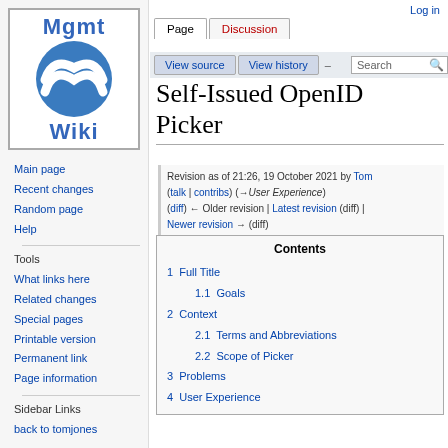[Figure (logo): Mgmt Wiki logo: blue circle with white M-W wave symbol, text 'Mgmt' above and 'Wiki' below]
Main page
Recent changes
Random page
Help
Tools
What links here
Related changes
Special pages
Printable version
Permanent link
Page information
Sidebar Links
back to tomjones
Log in
Self-Issued OpenID Picker
Revision as of 21:26, 19 October 2021 by Tom (talk | contribs) (→User Experience)
(diff) ← Older revision | Latest revision (diff) | Newer revision → (diff)
| Contents |
| --- |
| 1  Full Title |
| 1.1  Goals |
| 2  Context |
| 2.1  Terms and Abbreviations |
| 2.2  Scope of Picker |
| 3  Problems |
| 4  User Experience |
| 5  Solution |